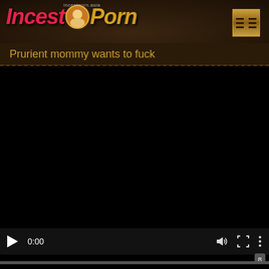[Figure (screenshot): Website header with IncestPorn logo featuring stylized pink/red italic text 'Incest' and gold italic text 'Porn' with a circular avatar image between words, small subdomain text 'incestporn.asia' above, on dark brown textured background. Gold menu button with double-column lines in top right corner.]
Prurient mommy wants to fuck
[Figure (screenshot): Black video player area with media controls at the bottom: play button, timestamp '0:00', volume icon, fullscreen icon, and three-dot menu icon. Gray progress bar at very bottom. Small Rumble logo in bottom right corner.]